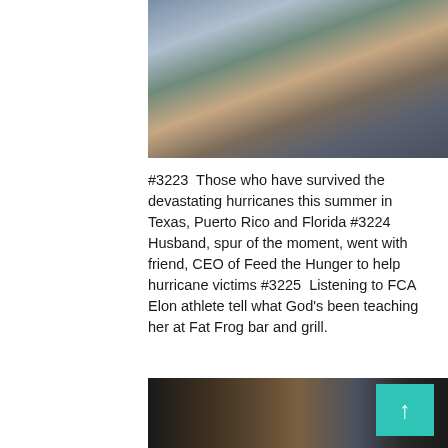[Figure (photo): Group photo of adults and children outdoors, smiling at the camera]
#3223  Those who have survived the devastating hurricanes this summer in Texas, Puerto Rico and Florida
#3224  Husband, spur of the moment, went with friend, CEO of Feed the Hunger to help hurricane victims
#3225  Listening to FCA Elon athlete tell what God's been teaching her at Fat Frog bar and grill.
[Figure (photo): Partial photo at bottom of page showing people in a dimly lit outdoor or bar setting]